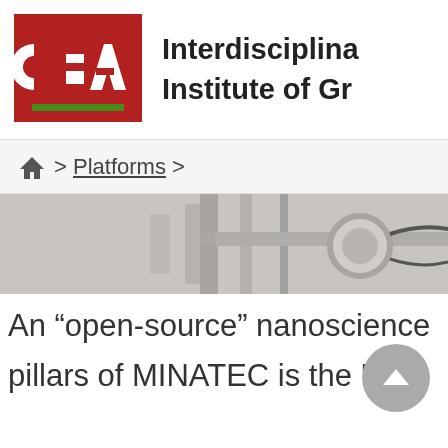[Figure (logo): CEA logo — red square with white 'cea' text and green underline]
Interdisciplina... Institute of Gr...
🏠 > Platforms >
[Figure (photo): A lab instrument/equipment photograph in grayscale tones]
An “open-source” nanoscience...
...pillars of MINATEC is the U...